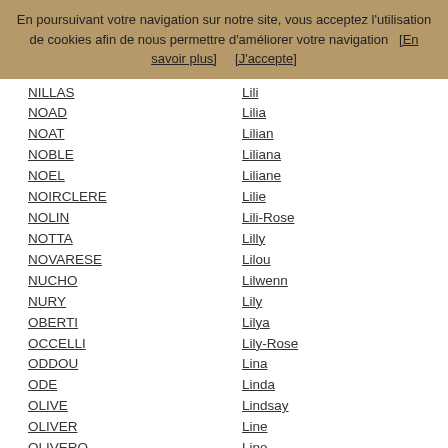En poursuivant votre navigation sur notre site, vous acceptez l'utilisation de cookies afin de nous permettre d'améliorer votre navigation   [En savoir plus]       [J'accepte]
NILLAS
NOAD
NOAT
NOBLE
NOEL
NOIRCLERE
NOLIN
NOTTA
NOVARESE
NUCHO
NURY
OBERTI
OCCELLI
ODDOU
ODE
OLIVE
OLIVER
OLIVERO
OLIVI
OLIVIER
OLLIVIER
OLLUS
Lili
Lilia
Lilian
Liliana
Liliane
Lilie
Lili-Rose
Lilly
Lilou
Lilwenn
Lily
Lilya
Lily-Rose
Lina
Linda
Lindsay
Line
Lino
LinoÃ¯
Linoy
Lionel
Lior